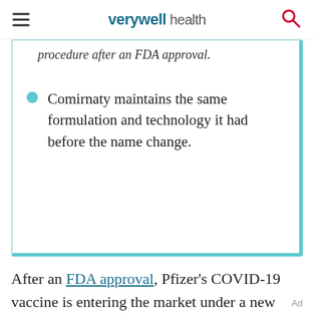verywell health
procedure after an FDA approval.
Comirnaty maintains the same formulation and technology it had before the name change.
After an FDA approval, Pfizer's COVID-19 vaccine is entering the market under a new name: “Comirnaty.”
Ad